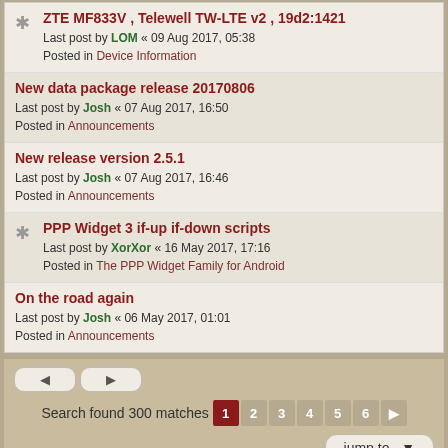ZTE MF833V , Telewell TW-LTE v2 , 19d2:1421
Last post by LOM « 09 Aug 2017, 05:38
Posted in Device Information
New data package release 20170806
Last post by Josh « 07 Aug 2017, 16:50
Posted in Announcements
New release version 2.5.1
Last post by Josh « 07 Aug 2017, 16:46
Posted in Announcements
PPP Widget 3 if-up if-down scripts
Last post by XorXor « 16 May 2017, 17:16
Posted in The PPP Widget Family for Android
On the road again
Last post by Josh « 06 May 2017, 01:01
Posted in Announcements
Search found 300 matches  1 2 3 4 5 6 »
Board index  Contact us  Delete cookies  All times are UTC+02:00
Nosebleed style by Mike Lothar | Ported to phpBB3.2 by Ian Bradley
Powered by phpBB® Forum Software © phpBB Limited
Privacy | Terms